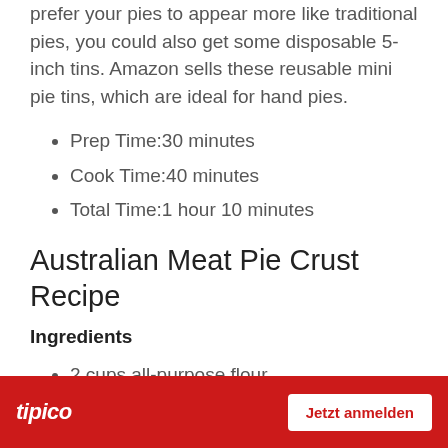prefer your pies to appear more like traditional pies, you could also get some disposable 5-inch tins. Amazon sells these reusable mini pie tins, which are ideal for hand pies.
Prep Time:30 minutes
Cook Time:40 minutes
Total Time:1 hour 10 minutes
Australian Meat Pie Crust Recipe
Ingredients
2 cups all-purpose flour
[Figure (other): Tipico advertisement banner with red background, tipico logo on left, and 'Jetzt anmelden' button on right]